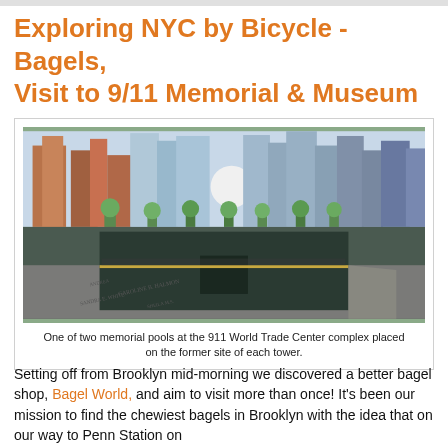Exploring NYC by Bicycle - Bagels, Visit to 9/11 Memorial & Museum
[Figure (photo): One of the two memorial pools at the 9/11 World Trade Center complex, showing the large reflecting pool with engraved names on the parapet and Manhattan skyscrapers in the background, with trees lining the site.]
One of two memorial pools at the 911 World Trade Center complex placed on the former site of each tower.
Setting off from Brooklyn mid-morning we discovered a better bagel shop, Bagel World, and aim to visit more than once! It's been our mission to find the chewiest bagels in Brooklyn with the idea that on our way to Penn Station on